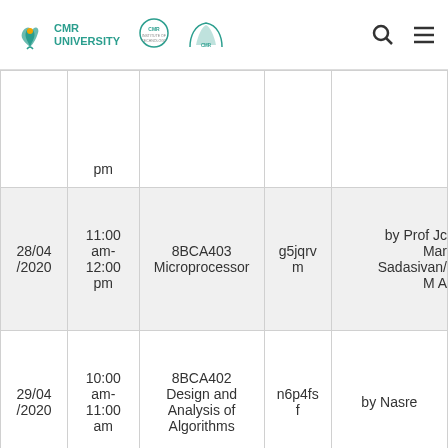CMR University | CMR Institute of Technology | CMR [logo]
| Date | Time | Subject | Code | Instructor |
| --- | --- | --- | --- | --- |
|  | pm |  |  |  |
| 28/04/2020 | 11:00 am-12:00 pm | 8BCA403 Microprocessor | g5jqrvm | by Prof Jc Mar Sadasivan/ M A |
| 29/04/2020 | 10:00 am-11:00 am | 8BCA402 Design and Analysis of Algorithms | n6p4fsf | by Nasre |
| 29/04 | 12:00 | 8BCA421 Data | p6oalif | Datagram d |